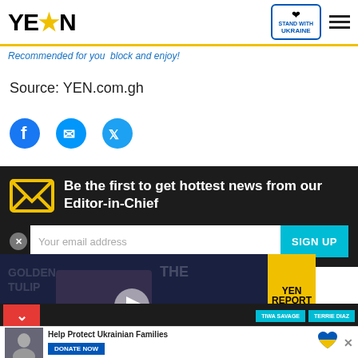YEN | STAND WITH UKRAINE
Recommended for you block and enjoy!
Source: YEN.com.gh
[Figure (illustration): Social media share icons: Facebook, Messenger, Twitter]
Be the first to get hottest news from our Editor-in-Chief
Your email address | SIGN UP
[Figure (screenshot): Video thumbnail: Stonebwoy breaks silence on VGMA ban - VGMA BAN IS A GOOD THING with YEN REPORT badge]
TIWA SAVAGE | TERRIE DIAZ
[Figure (illustration): Ukraine donate banner: Help Protect Ukrainian Families - DONATE NOW]